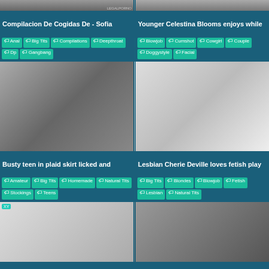[Figure (photo): Thumbnail 1: Compilacion De Cogidas De - Sofia]
Compilacion De Cogidas De - Sofia
Anal · Big Tits · Compilations · Deepthroat · Dp · Gangbang
[Figure (photo): Thumbnail 2: Younger Celestina Blooms enjoys while]
Younger Celestina Blooms enjoys while
Blowjob · Cumshot · Cowgirl · Couple · Doggystyle · Facial
[Figure (photo): Thumbnail 3: Busty teen in plaid skirt licked and]
Busty teen in plaid skirt licked and
Amateur · Big Tits · Homemade · Natural Tits · Stockings · Teens
[Figure (photo): Thumbnail 4: Lesbian Cherie Deville loves fetish play]
Lesbian Cherie Deville loves fetish play
Big Tits · Blondes · Blowjob · Fetish · Lesbian · Natural Tits
[Figure (photo): Thumbnail 5: bottom left video]
[Figure (photo): Thumbnail 6: bottom right video]